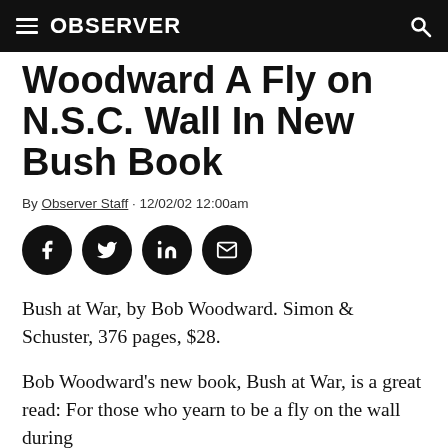OBSERVER
Woodward A Fly on N.S.C. Wall In New Bush Book
By Observer Staff · 12/02/02 12:00am
[Figure (infographic): Four black circular social media share buttons: Facebook, Twitter, LinkedIn, Email]
Bush at War, by Bob Woodward. Simon & Schuster, 376 pages, $28.
Bob Woodward's new book, Bush at War, is a great read: For those who yearn to be a fly on the wall during